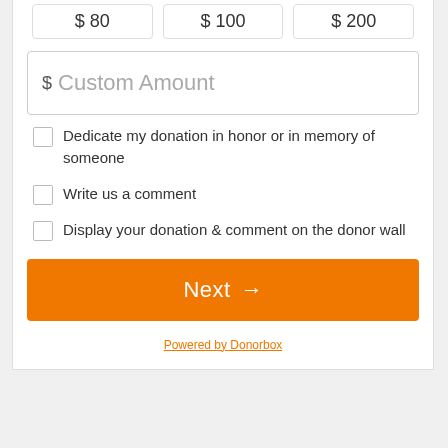$ 80
$ 100
$ 200
$ Custom Amount
Dedicate my donation in honor or in memory of someone
Write us a comment
Display your donation & comment on the donor wall
Next →
Powered by Donorbox